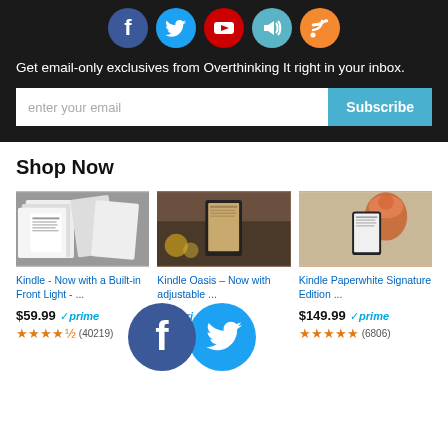[Figure (screenshot): Social media icons row: Facebook, Twitter, YouTube, Speaker/sound, RSS feed icons as colored circles]
Get email-only exclusives from Overthinking It right in your inbox.
[Figure (screenshot): Email subscription input field with placeholder 'enter your email' and a blue Subscribe button]
Shop Now
[Figure (photo): Kindle e-reader shown among newspapers/magazines - grayscale image]
[Figure (photo): Kindle Oasis held over bath with candles in background]
[Figure (photo): Woman with curly hair and glasses reading on Kindle Paperwhite]
Kindle - Now with a Built-in Front Light - ...
$59.99 ✓prime ★★★★½ (40219)
Kindle Oasis – Now with adjustable ...
$199 prime
Kindle Paperwhite Signature Edition ...
$149.99 ✓prime ★★★★★ (6806)
[Figure (screenshot): Overlapping large Facebook and Twitter circle icons overlaid on the product row]